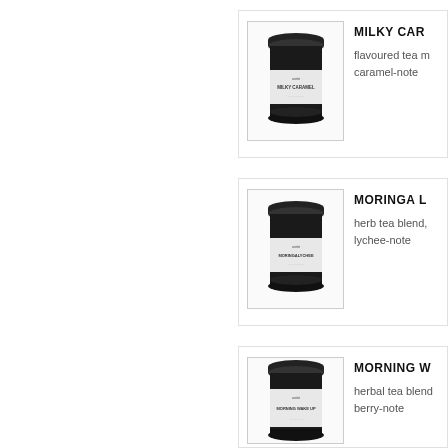[Figure (illustration): Black tin can with white label reading MILKY CARAMEL]
MILKY CAR...
flavoured tea m... caramel-note
[Figure (illustration): Black tin can with white label reading MORINGA LYCHEE]
MORINGA L...
herb tea blend, ... lychee-note
[Figure (illustration): Black tin can with white label reading MORNING WAKE UP]
MORNING W...
herbal tea blend... berry-note